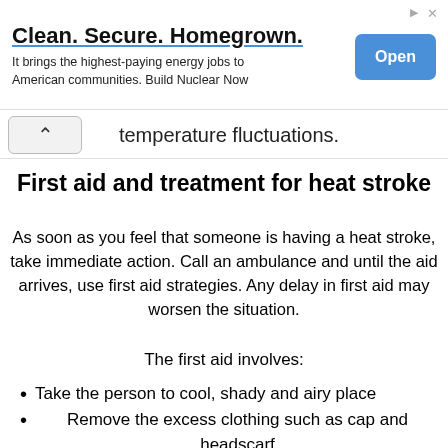[Figure (other): Advertisement banner: 'Clean. Secure. Homegrown.' with subtitle 'It brings the highest-paying energy jobs to American communities. Build Nuclear Now' and an 'Open' button on the right.]
temperature fluctuations.
First aid and treatment for heat stroke
As soon as you feel that someone is having a heat stroke, take immediate action. Call an ambulance and until the aid arrives, use first aid strategies. Any delay in first aid may worsen the situation.
The first aid involves:
Take the person to cool, shady and airy place
Remove the excess clothing such as cap and headscarf